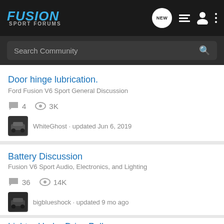Fusion Sport Forums
Search Community
Door hinge lubrication.
Ford Fusion V6 Sport General Discussion
4 replies · 3K views · WhiteGhost · updated Jun 6, 2019
Battery Discussion
Fusion V6 Sport Audio, Electronics, and Lighting
36 replies · 14K views · bigblueshock · updated 9 mo ago
Lighter Under Drive Pulley